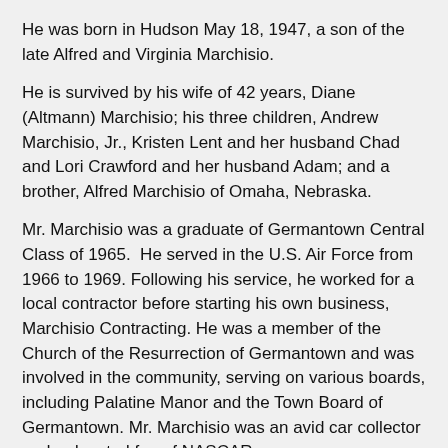He was born in Hudson May 18, 1947, a son of the late Alfred and Virginia Marchisio.
He is survived by his wife of 42 years, Diane (Altmann) Marchisio; his three children, Andrew Marchisio, Jr., Kristen Lent and her husband Chad and Lori Crawford and her husband Adam; and a brother, Alfred Marchisio of Omaha, Nebraska.
Mr. Marchisio was a graduate of Germantown Central Class of 1965.  He served in the U.S. Air Force from 1966 to 1969. Following his service, he worked for a local contractor before starting his own business, Marchisio Contracting. He was a member of the Church of the Resurrection of Germantown and was involved in the community, serving on various boards, including Palatine Manor and the Town Board of Germantown. Mr. Marchisio was an avid car collector and a devoted fan of NASCAR.
Calling hours will be 6 to 8 p.m., Tuesday, July 2 at the Yadack-Fox Funeral Home, Germantown. Services will be held 10 a.m. Wednesday, July 3 at the Church of the Resurrection. Burial will follow in the Reformed Church Cemetery, Germantown.